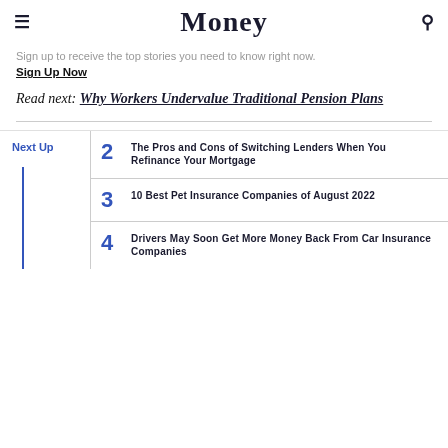Money
Sign up to receive the top stories you need to know right now.
Sign Up Now
Read next: Why Workers Undervalue Traditional Pension Plans
Next Up
2 The Pros and Cons of Switching Lenders When You Refinance Your Mortgage
3 10 Best Pet Insurance Companies of August 2022
4 Drivers May Soon Get More Money Back From Car Insurance Companies